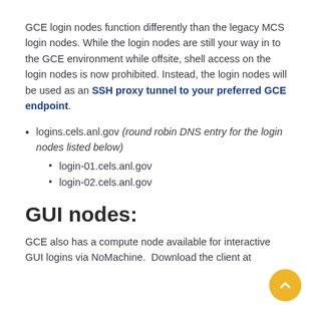GCE login nodes function differently than the legacy MCS login nodes. While the login nodes are still your way in to the GCE environment while offsite, shell access on the login nodes is now prohibited. Instead, the login nodes will be used as an SSH proxy tunnel to your preferred GCE endpoint.
logins.cels.anl.gov (round robin DNS entry for the login nodes listed below)
login-01.cels.anl.gov
login-02.cels.anl.gov
GUI nodes:
GCE also has a compute node available for interactive GUI logins via NoMachine. Download the client at